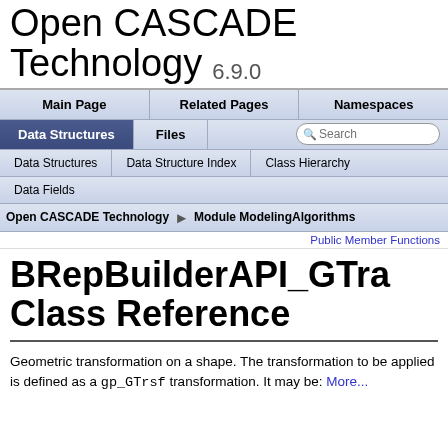Open CASCADE Technology 6.9.0
Main Page | Related Pages | Namespaces
Data Structures | Files | Search
Data Structures | Data Structure Index | Class Hierarchy
Data Fields
Open CASCADE Technology > Module ModelingAlgorithms
Public Member Functions
BRepBuilderAPI_GTra Class Reference
Geometric transformation on a shape. The transformation to be applied is defined as a gp_GTrsf transformation. It may be: More...